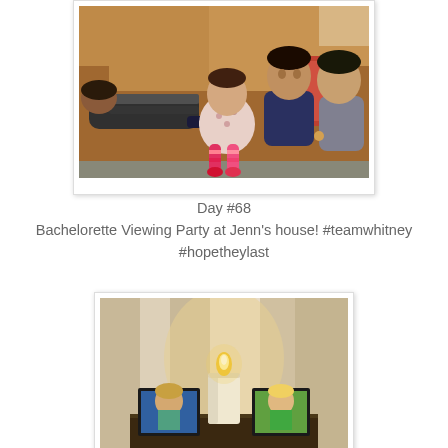[Figure (photo): Children sitting and lying on a brown leather couch. One child lying face-down on the left, a baby in the middle being held, and two older children on the right.]
Day #68
Bachelorette Viewing Party at Jenn's house! #teamwhitney #hopetheylast
[Figure (photo): A candle lit on a table between two framed photos of women, set against a beige curtain background.]